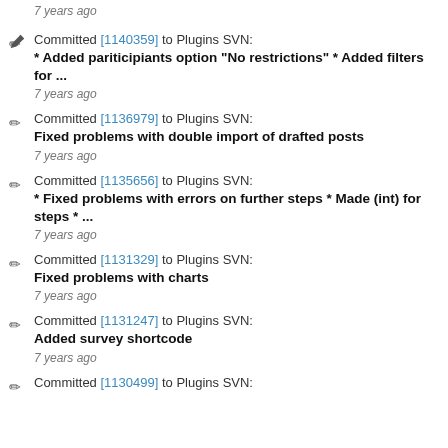7 years ago
Committed [1140359] to Plugins SVN:
* Added pariticipiants option "No restrictions" * Added filters for ...
7 years ago
Committed [1136979] to Plugins SVN:
Fixed problems with double import of drafted posts
7 years ago
Committed [1135656] to Plugins SVN:
* Fixed problems with errors on further steps * Made (int) for steps * ...
7 years ago
Committed [1131329] to Plugins SVN:
Fixed problems with charts
7 years ago
Committed [1131247] to Plugins SVN:
Added survey shortcode
7 years ago
Committed [1130499] to Plugins SVN: